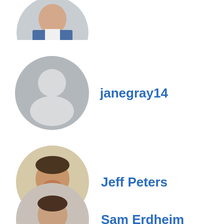[Figure (photo): Circular cropped photo of a man in a suit, partially visible at top of page]
janegray14
[Figure (photo): Gray default user avatar placeholder icon in a circle]
Jeff Peters
[Figure (photo): Circular cropped photo of a smiling man]
Sam Erdheim
[Figure (photo): Circular cropped photo of a man in a dark suit, partially visible at bottom]